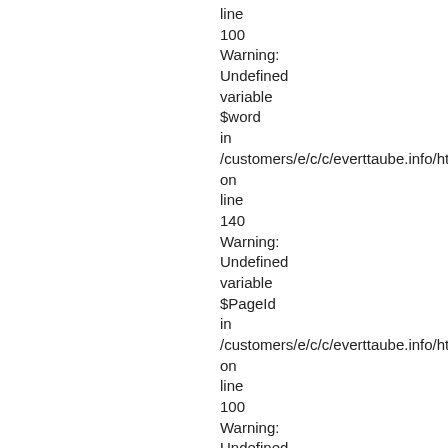line
100
Warning:
Undefined
variable
$word
in
/customers/e/c/c/everttaube.info/httpd.w
on
line
140
Warning:
Undefined
variable
$PageId
in
/customers/e/c/c/everttaube.info/httpd.w
on
line
100
Warning:
Undefined
variable
$word
in
/customers/e/c/c/everttaube.info/httpd.w
on
line
140
Warning: